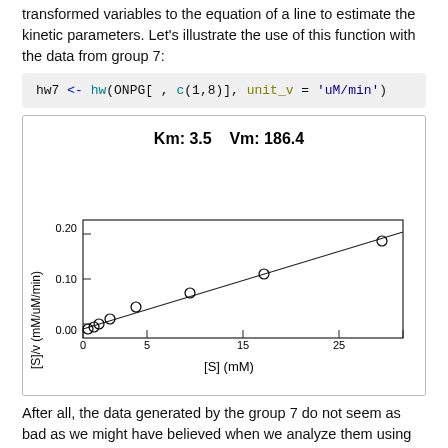transformed variables to the equation of a line to estimate the kinetic parameters. Let's illustrate the use of this function with the data from group 7:
[Figure (scatter-plot): Km: 3.5    Vm: 186.4]
After all, the data generated by the group 7 do not seem as bad as we might have believed when we analyze them using